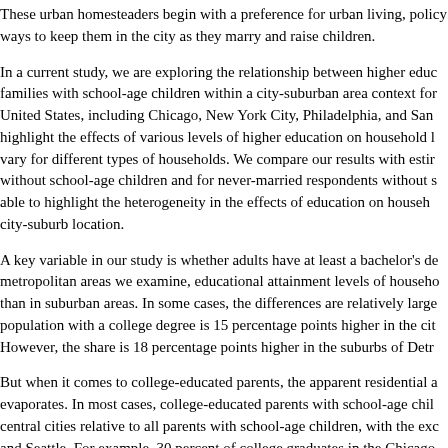These urban homesteaders begin with a preference for urban living, policy ways to keep them in the city as they marry and raise children.
In a current study, we are exploring the relationship between higher education and families with school-age children within a city-suburban area context for several United States, including Chicago, New York City, Philadelphia, and San highlight the effects of various levels of higher education on household location vary for different types of households. We compare our results with estimates without school-age children and for never-married respondents without school-age able to highlight the heterogeneity in the effects of education on household city-suburb location.
A key variable in our study is whether adults have at least a bachelor's degree. In the metropolitan areas we examine, educational attainment levels of households are higher than in suburban areas. In some cases, the differences are relatively large population with a college degree is 15 percentage points higher in the city. However, the share is 18 percentage points higher in the suburbs of Detroit.
But when it comes to college-educated parents, the apparent residential advantage evaporates. In most cases, college-educated parents with school-age children live in central cities relative to all parents with school-age children, with the exception of and Seattle. For example, 30 percent of college graduates in the Chicago but only 16 percent of college-educated parents with school-age children parents send their children to private schools.
On the face of it, the data suggest that, to retain city residents in the...